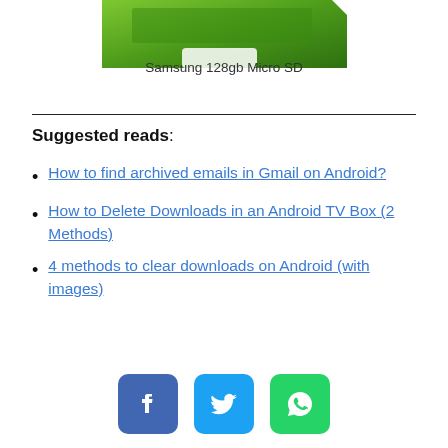[Figure (photo): Partial top view of a Samsung 128gb Micro SD card with green gradient design]
Samsung 128gb Micro SD
Suggested reads:
How to find archived emails in Gmail on Android?
How to Delete Downloads in an Android TV Box (2 Methods)
4 methods to clear downloads on Android (with images)
[Figure (illustration): Social share buttons: Facebook (blue), Twitter (light blue), WhatsApp (green)]